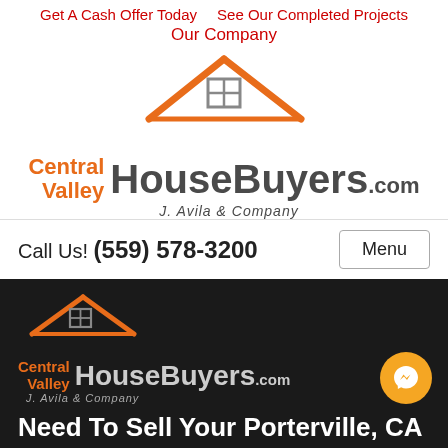Get A Cash Offer Today   See Our Completed Projects
Our Company
[Figure (logo): Central Valley HouseBuyers.com logo with orange roof/house icon above text. Text reads: Central Valley HouseBuyers.com J. Avila & Company]
Call Us! (559) 578-3200
Menu
[Figure (logo): Central Valley HouseBuyers.com logo on dark background with orange roof/house icon. Text reads: Central Valley HouseBuyers.com J. Avila & Company]
Need To Sell Your Porterville, CA House Fast?